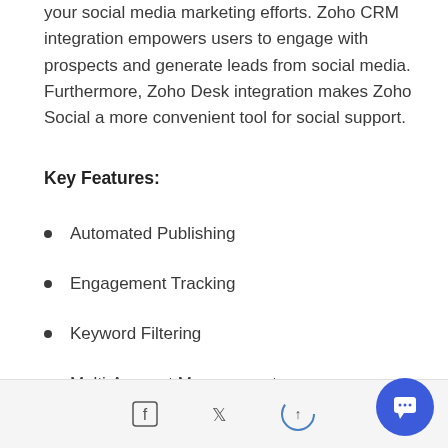your social media marketing efforts. Zoho CRM integration empowers users to engage with prospects and generate leads from social media. Furthermore, Zoho Desk integration makes Zoho Social a more convenient tool for social support.
Key Features:
Automated Publishing
Engagement Tracking
Keyword Filtering
Multi-Account Management
Social media share icons and scroll-to-top button